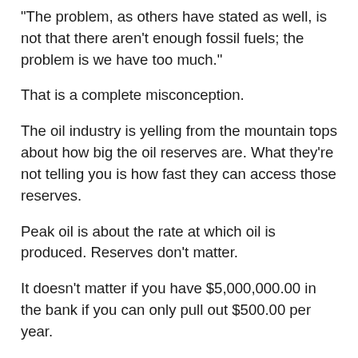“The problem, as others have stated as well, is not that there aren’t enough fossil fuels; the problem is we have too much.”
That is a complete misconception.
The oil industry is yelling from the mountain tops about how big the oil reserves are. What they’re not telling you is how fast they can access those reserves.
Peak oil is about the rate at which oil is produced. Reserves don’t matter.
It doesn’t matter if you have $5,000,000.00 in the bank if you can only pull out $500.00 per year.
Globally speaking, conventional oil production has already peaked and is declining at about 6% per year.
The new reserves they’re adding are in the form of tight oil